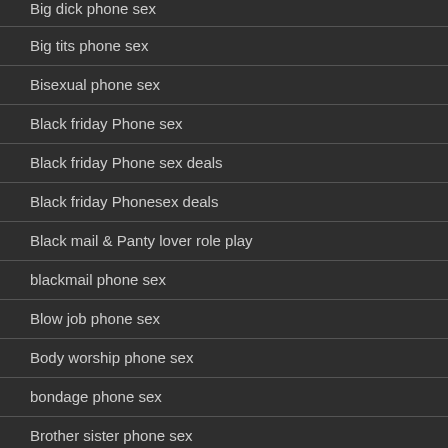Big dick phone sex
Big tits phone sex
Bisexual phone sex
Black friday Phone sex
Black friday Phone sex deals
Black friday Phonesex deals
Black mail & Panty lover role play
blackmail phone sex
Blow job phone sex
Body worship phone sex
bondage phone sex
Brother sister phone sex